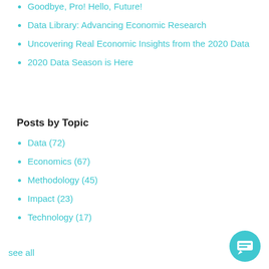Goodbye, Pro! Hello, Future!
Data Library: Advancing Economic Research
Uncovering Real Economic Insights from the 2020 Data
2020 Data Season is Here
Posts by Topic
Data (72)
Economics (67)
Methodology (45)
Impact (23)
Technology (17)
see all